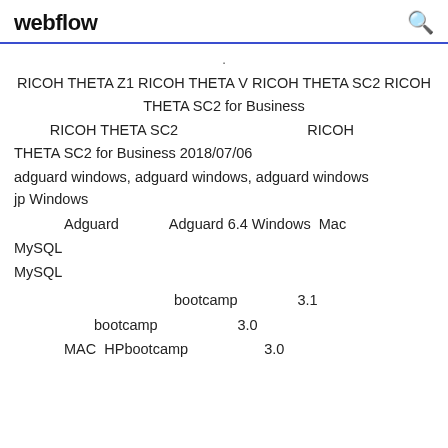webflow
RICOH THETA Z1 RICOH THETA V RICOH THETA SC2 RICOH THETA SC2 for Business
RICOH THETA SC2    RICOH THETA SC2 for Business 2018/07/06
adguard windows, adguard windows, adguard windows    jp Windows
Adguard    Adguard 6.4 Windows  Mac
MySQL
MySQL
bootcamp    3.1
bootcamp    3.0
MAC  HP    bootcamp    3.0